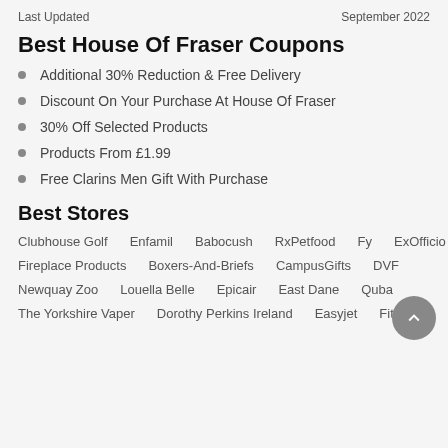Last Updated    September 2022
Best House Of Fraser Coupons
Additional 30% Reduction & Free Delivery
Discount On Your Purchase At House Of Fraser
30% Off Selected Products
Products From £1.99
Free Clarins Men Gift With Purchase
Best Stores
Clubhouse Golf  Enfamil  Babocush  RxPetfood  Fy  ExOfficio
Fireplace Products  Boxers-And-Briefs  CampusGifts  DVF
Newquay Zoo  Louella Belle  Epicair  East Dane  Quba
The Yorkshire Vaper  Dorothy Perkins Ireland  Easyjet  Fitflop